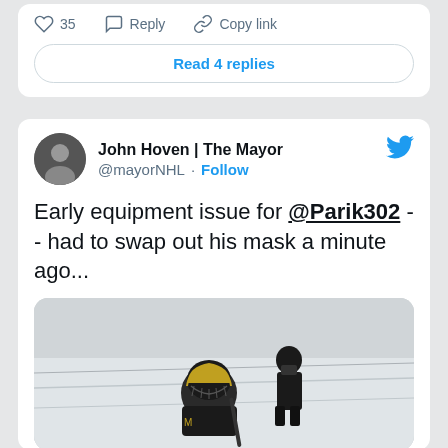35  Reply  Copy link
Read 4 replies
John Hoven | The Mayor @mayorNHL · Follow
Early equipment issue for @Parik302 -- had to swap out his mask a minute ago...
[Figure (photo): Hockey goalie in black mask and equipment crouching on ice rink, another person standing in background wearing black mask]